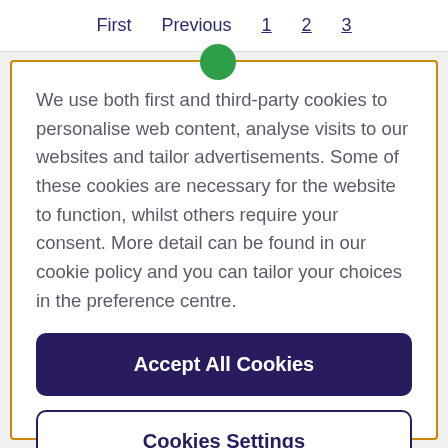First  Previous  1  2  3
We use both first and third-party cookies to personalise web content, analyse visits to our websites and tailor advertisements. Some of these cookies are necessary for the website to function, whilst others require your consent. More detail can be found in our cookie policy and you can tailor your choices in the preference centre.
Accept All Cookies
Cookies Settings